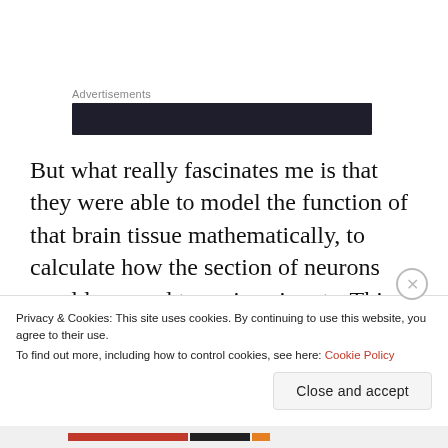Advertisements
[Figure (other): Dark advertisement banner bar]
But what really fascinates me is that they were able to model the function of that brain tissue mathematically, to calculate how the section of neurons would respond to various inputs. This brings us closer to understanding just how brain functions such as memory and consciousness arise from the biology and chemistry of the brain.
Privacy & Cookies: This site uses cookies. By continuing to use this website, you agree to their use.
To find out more, including how to control cookies, see here: Cookie Policy
Close and accept